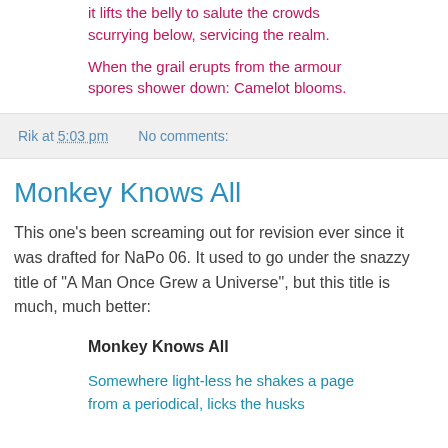it lifts the belly to salute the crowds scurrying below, servicing the realm.
When the grail erupts from the armour spores shower down: Camelot blooms.
Rik at 5:03 pm    No comments:
Monkey Knows All
This one's been screaming out for revision ever since it was drafted for NaPo 06. It used to go under the snazzy title of "A Man Once Grew a Universe", but this title is much, much better:
Monkey Knows All
Somewhere light-less he shakes a page from a periodical, licks the husks